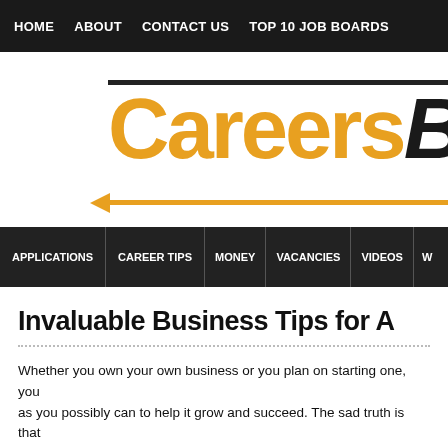HOME   ABOUT   CONTACT US   TOP 10 JOB BOARDS
[Figure (logo): CareersBusi... logo with orange 'Careers' text and bold italic black 'Busi...' text, with orange arrow pointing left along a horizontal line]
APPLICATIONS   CAREER TIPS   MONEY   VACANCIES   VIDEOS   W...
Invaluable Business Tips for A...
Whether you own your own business or you plan on starting one, you... as you possibly can to help it grow and succeed. The sad truth is that... succeed these days, for different reasons. Somebody's heart may no... may not have done enough market research. There are a ton of thing... affect a business. These invaluable tips should help you to avoid so...